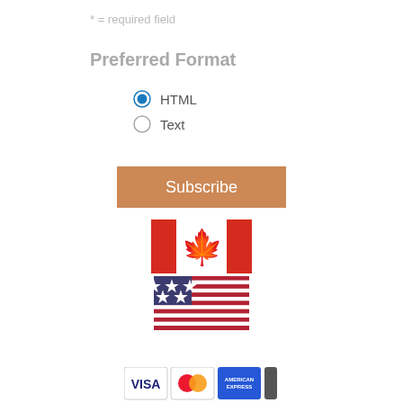* = required field
Preferred Format
HTML (selected radio button)
Text (unselected radio button)
[Figure (illustration): Subscribe button - orange/tan colored rectangular button with white text 'Subscribe']
[Figure (illustration): Canadian flag - red and white with maple leaf]
[Figure (illustration): United States flag - stars and stripes]
[Figure (illustration): Payment icons - Visa, Mastercard, American Express, and another card]